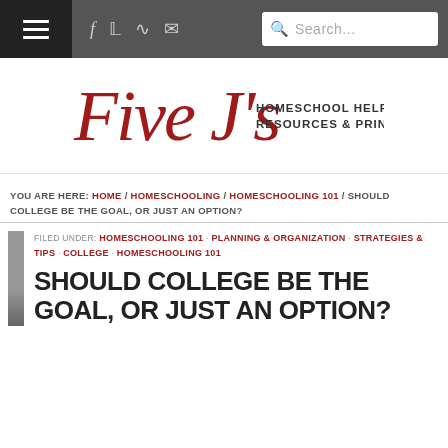Five J's Homeschool Helps Resources & Printables — navigation bar with social icons and search
[Figure (logo): Five J's Homeschool Helps Resources & Printables logo in cursive red script with sans-serif subtitle]
YOU ARE HERE: HOME / HOMESCHOOLING / HOMESCHOOLING 101 / SHOULD COLLEGE BE THE GOAL, OR JUST AN OPTION?
FILED UNDER: HOMESCHOOLING 101 · PLANNING & ORGANIZATION · STRATEGIES & TIPS · COLLEGE · HOMESCHOOLING 101
SHOULD COLLEGE BE THE GOAL, OR JUST AN OPTION?